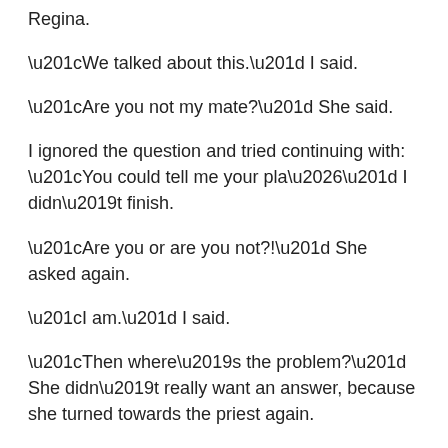Regina.
“We talked about this.” I said.
“Are you not my mate?” She said.
I ignored the question and tried continuing with: “You could tell me your pla…” I didn’t finish.
“Are you or are you not?!” She asked again.
“I am.” I said.
“Then where’s the problem?” She didn’t really want an answer, because she turned towards the priest again.
“In any case, like I was saying. Three.”
I just gave up, would pick it up another time. This wasn’t the place for that discussion.